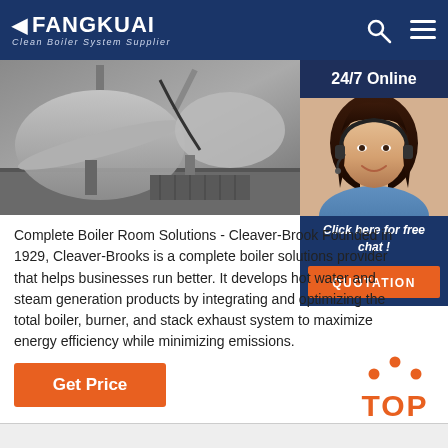FANGKUAI Clean Boiler System Supplier
[Figure (photo): Industrial boiler equipment photo showing large cylindrical boiler with pipes and cables]
[Figure (photo): 24/7 Online customer service agent overlay panel with woman wearing headset, Click here for free chat, QUOTATION button]
Complete Boiler Room Solutions - Cleaver-Brook Founded in 1929, Cleaver-Brooks is a complete boiler solutions provider that helps businesses run better. It develops hot water and steam generation products by integrating and optimizing the total boiler, burner, and stack exhaust system to maximize energy efficiency while minimizing emissions.
Get Price
[Figure (other): TOP navigation button with orange dots above orange TOP text]